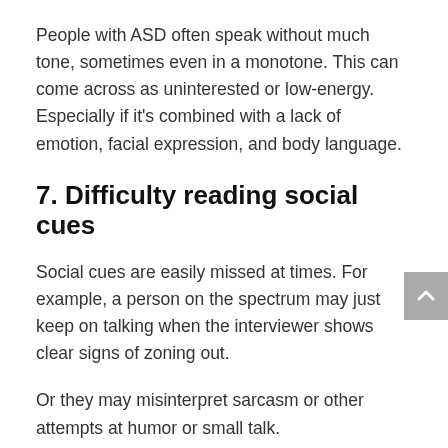People with ASD often speak without much tone, sometimes even in a monotone. This can come across as uninterested or low-energy. Especially if it's combined with a lack of emotion, facial expression, and body language.
7. Difficulty reading social cues
Social cues are easily missed at times. For example, a person on the spectrum may just keep on talking when the interviewer shows clear signs of zoning out.
Or they may misinterpret sarcasm or other attempts at humor or small talk.